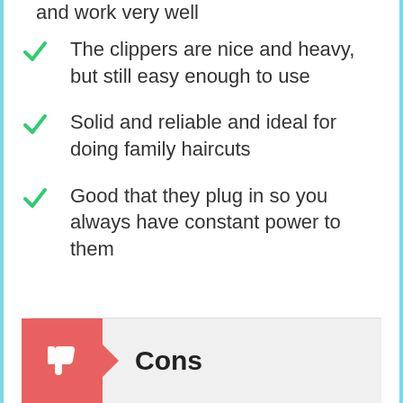and work very well
The clippers are nice and heavy, but still easy enough to use
Solid and reliable and ideal for doing family haircuts
Good that they plug in so you always have constant power to them
Cons